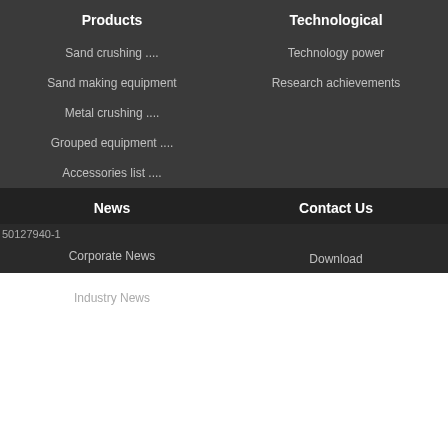Products
Technological
Sand crushing ....
Technology power
Sand making equipment
Research achievements
Metal crushing ....
Grouped equipment ....
Accessories list ....
News
Contact Us
50127940-1
Corporate News
Download
Industry News